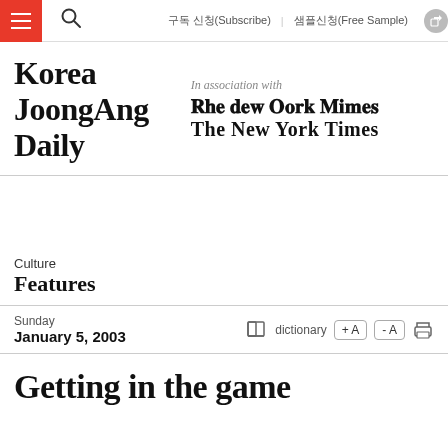구독 신청(Subscribe) 샘플신청(Free Sample)
[Figure (logo): Korea JoongAng Daily logo with 'In association with The New York Times']
Culture
Features
Sunday
January 5, 2003
Getting in the game